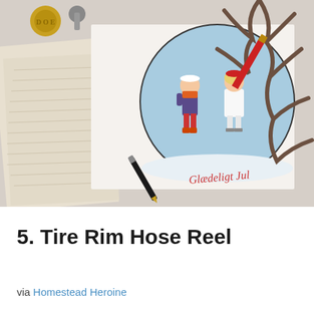[Figure (photo): A photograph showing a vintage Christmas card with two children ice skating, surrounded by handwritten letters, a fountain pen, wax seals, and antler decorations. The card reads 'Glædeligt Jul' in red cursive script.]
5. Tire Rim Hose Reel
via Homestead Heroine